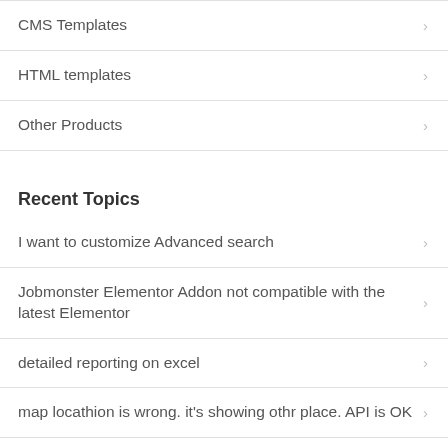CMS Templates
HTML templates
Other Products
Recent Topics
I want to customize Advanced search
Jobmonster Elementor Addon not compatible with the latest Elementor
detailed reporting on excel
map locathion is wrong. it's showing othr place. API is OK